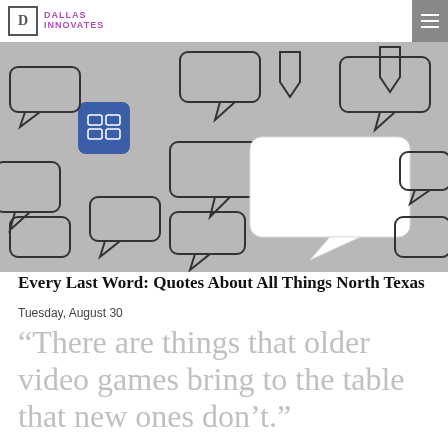DALLAS INNOVATES
[Figure (illustration): Gray background with many overlapping speech bubble outlines in a pattern, with one white empty speech bubble prominently visible in the center-right area.]
Every Last Word: Quotes About All Things North Texas
Tuesday, August 30
“There are things that older video games bring to the table that new ones don’t.”
Jay McDonald
Founder
RetroGame Start